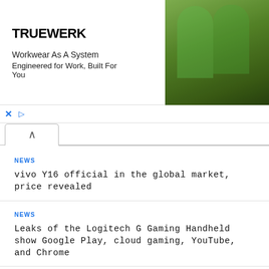[Figure (photo): TRUEWERK advertisement banner showing two workers in green neon workwear with helmets outdoors, with text 'Workkwear As A System / Engineered for Work, Built For You']
NEWS
vivo Y16 official in the global market, price revealed
NEWS
Leaks of the Logitech G Gaming Handheld show Google Play, cloud gaming, YouTube, and Chrome
NEWS
6 digital banks may start operations in the PH, says BSP
NEWS
Sylvester Stallone's 'The Samaritan' is now streaming on